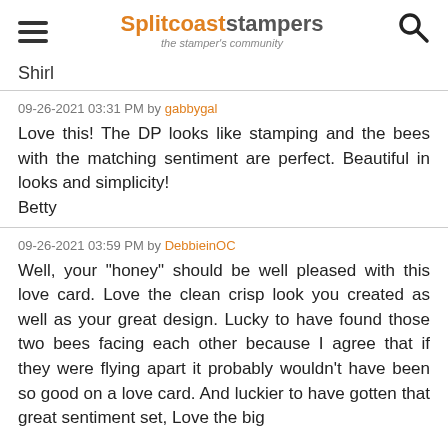Splitcoaststampers — the stamper's community
Shirl
09-26-2021 03:31 PM by gabbygal
Love this! The DP looks like stamping and the bees with the matching sentiment are perfect. Beautiful in looks and simplicity!
Betty
09-26-2021 03:59 PM by DebbieinOC
Well, your "honey" should be well pleased with this love card. Love the clean crisp look you created as well as your great design. Lucky to have found those two bees facing each other because I agree that if they were flying apart it probably wouldn't have been so good on a love card. And luckier to have gotten that great sentiment set, Love the big